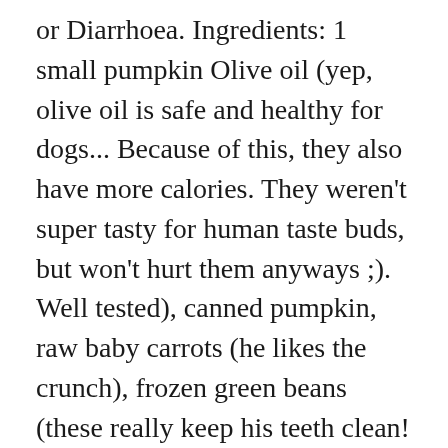or Diarrhoea. Ingredients: 1 small pumpkin Olive oil (yep, olive oil is safe and healthy for dogs... Because of this, they also have more calories. They weren't super tasty for human taste buds, but won't hurt them anyways ;). Well tested), canned pumpkin, raw baby carrots (he likes the crunch), frozen green beans (these really keep his teeth clean! We feed Orijen dog food, a mix of cooked veggies (peas and green beans-no salt!-mostly), Brutus Bone Broth (no alliums! The Holidays are here and that usually means lots of tasty treats and good things to eat. It really depends on your dog and their dietary needs. All content shared at Pawsitively Pets is written by Ann Staub unless stated otherwise. Dogs, 1 tablespoon/meal for large